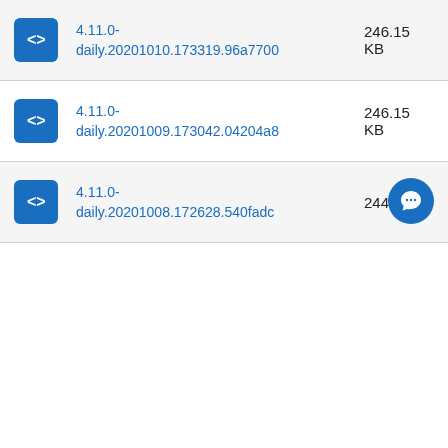4.11.0-daily.20201010.173319.96a7700 246.15 KB
4.11.0-daily.20201009.173042.04204a8 246.15 KB
4.11.0-daily.20201008.172628.540fadc 244.36